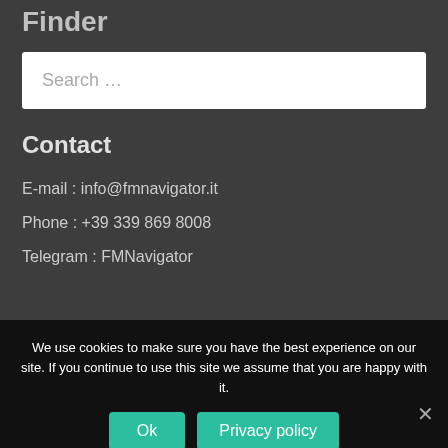Finder
Search …
Contact
E-mail : info@fmnavigator.it
Phone : +39 339 869 8008
Telegram : FMNavigator
We use cookies to make sure you have the best experience on our site. If you continue to use this site we assume that you are happy with it.
Ok
Privacy policy